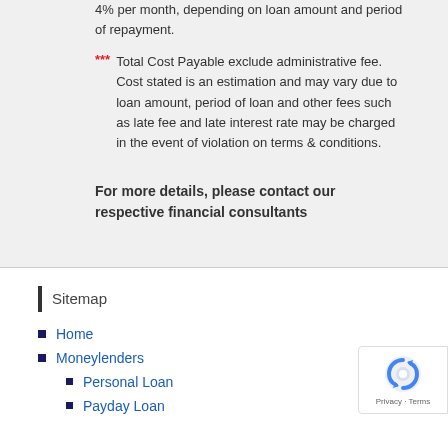4% per month, depending on loan amount and period of repayment.
*** Total Cost Payable exclude administrative fee. Cost stated is an estimation and may vary due to loan amount, period of loan and other fees such as late fee and late interest rate may be charged in the event of violation on terms & conditions.
For more details, please contact our respective financial consultants
Sitemap
Home
Moneylenders
Personal Loan
Payday Loan